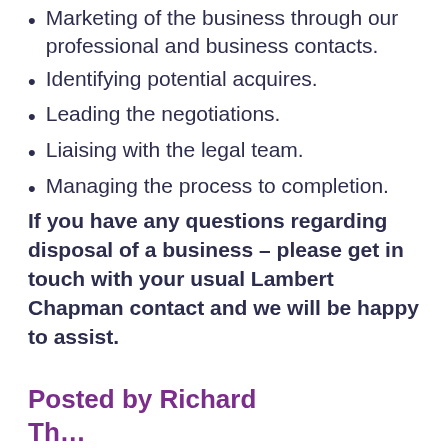Marketing of the business through our professional and business contacts.
Identifying potential acquires.
Leading the negotiations.
Liaising with the legal team.
Managing the process to completion.
If you have any questions regarding disposal of a business – please get in touch with your usual Lambert Chapman contact and we will be happy to assist.
Posted by Richard Th…